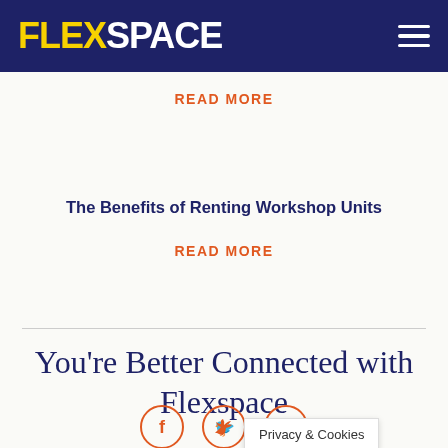FLEXSPACE
READ MORE
The Benefits of Renting Workshop Units
READ MORE
You're Better Connected with Flexspace
[Figure (infographic): Three social media icon circles: Facebook (f), Twitter (bird), LinkedIn (in), with orange circle outlines]
Privacy & Cookies